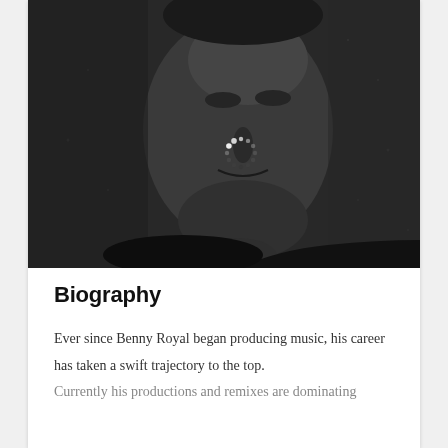[Figure (photo): Black and white portrait photo of a young man (Benny Royal) with a loading spinner overlay near his nose/mouth area. The subject is looking slightly to the side with a subtle smile. Dark, moody lighting against a concrete-like background.]
Biography
Ever since Benny Royal began producing music, his career has taken a swift trajectory to the top.
Currently his productions and remixes are dominating